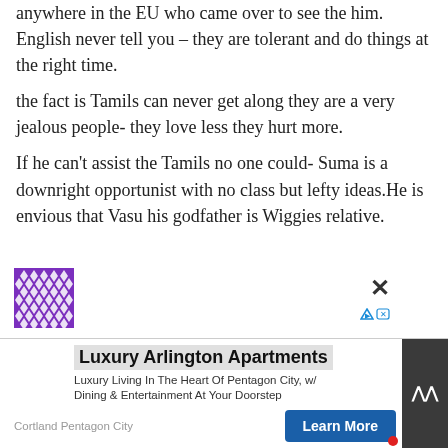anywhere in the EU who came over to see the him. English never tell you – they are tolerant and do things at the right time.
the fact is Tamils can never get along they are a very jealous people- they love less they hurt more.
If he can't assist the Tamils no one could- Suma is a downright opportunist with no class but lefty ideas.He is envious that Vasu his godfather is Wiggies relative.
[Figure (logo): Purple decorative geometric logo with diamond pattern]
Luxury Arlington Apartments
Luxury Living In The Heart Of Pentagon City, w/ Dining & Entertainment At Your Doorstep
Cortland Pentagon City